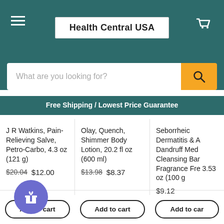Health Central USA
What are you looking for?
Free Shipping / Lowest Price Guarantee
J R Watkins, Pain-Relieving Salve, Petro-Carbo, 4.3 oz (121 g)
$20.04  $12.00
Olay, Quench, Shimmer Body Lotion, 20.2 fl oz (600 ml)
$13.98  $8.37
Seborrheic Dermatitis & A Dandruff Med Cleansing Bar Fragrance Fre 3.53 oz (100 g)
$9.12
Add to cart
Add to cart
Add to cart